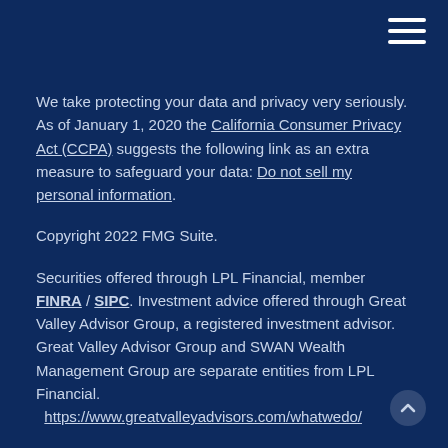[Figure (other): Hamburger menu icon (three horizontal white lines) in top-right corner]
We take protecting your data and privacy very seriously. As of January 1, 2020 the California Consumer Privacy Act (CCPA) suggests the following link as an extra measure to safeguard your data: Do not sell my personal information.
Copyright 2022 FMG Suite.
Securities offered through LPL Financial, member FINRA / SIPC. Investment advice offered through Great Valley Advisor Group, a registered investment advisor. Great Valley Advisor Group and SWAN Wealth Management Group are separate entities from LPL Financial. https://www.greatvalleyadvisors.com/whatwedo/
The LPL Financial Registered Representatives associated with this site may only discuss and/or transact securities business with residents of the following states: CA, CT, FL, GA, MA, NJ, NY, & PA.